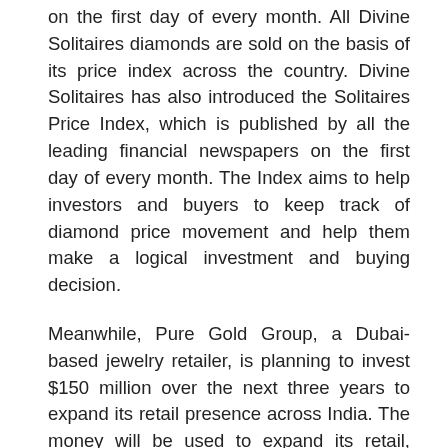on the first day of every month. All Divine Solitaires diamonds are sold on the basis of its price index across the country. Divine Solitaires has also introduced the Solitaires Price Index, which is published by all the leading financial newspapers on the first day of every month. The Index aims to help investors and buyers to keep track of diamond price movement and help them make a logical investment and buying decision.
Meanwhile, Pure Gold Group, a Dubai-based jewelry retailer, is planning to invest $150 million over the next three years to expand its retail presence across India. The money will be used to expand its retail, diamond and gold jewelry manufacturing and hospitality operations in India.
“We believe in the Indian economy’s strong long-term outlook,” said Firoz Merchant, the chairman and